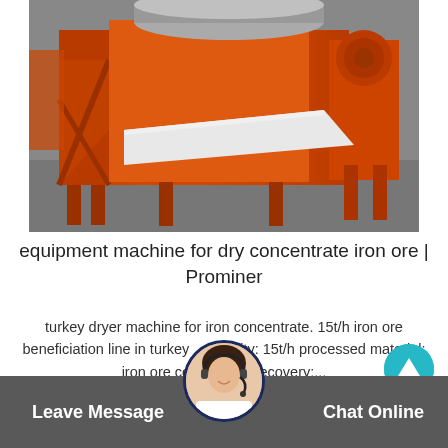[Figure (photo): Close-up photograph of a large orange industrial iron ore processing machine (dry magnetic separator or similar equipment) in a factory/yard setting. The machine has a distinctive orange painted steel frame with diagonal support braces and a cylindrical roller visible at the top.]
equipment machine for dry concentrate iron ore | Prominer
turkey dryer machine for iron concentrate. 15t/h iron ore beneficiation line in turkey . capacity: 15t/h processed material: iron ore concentrate recovery:...
Leave Message   Chat Online